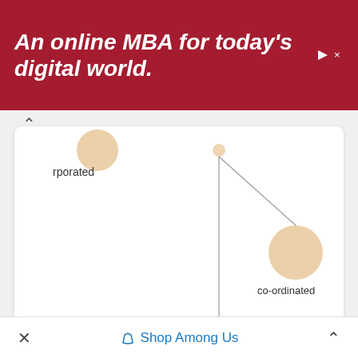[Figure (infographic): Red advertisement banner reading 'An online MBA for today's digital world.' with ad icons top right]
[Figure (network-graph): Network graph showing nodes labeled 'rporated' (partially visible, top left), and two connected nodes: 'co-ordinated' (upper right, smaller node) and 'interconnected' (center, larger node), connected by lines to a small node at the top center.]
LEGEND:
NOUN
VERB
ADJECTIVE
ADVERB
✕   Shop Among Us   ∧